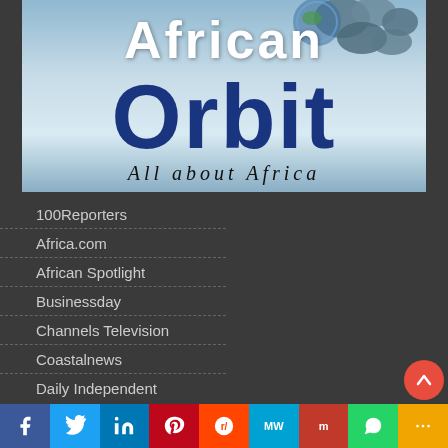[Figure (logo): African Orbit logo — 'African' in white bold text over a stone/pebble background, 'Orbit' in large dark blue bold text, tagline 'All about Africa' in italic below, on a light blue/grey gradient background with decorative stones and a globe element at top.]
100Reporters
Africa.com
African Spotlight
Businessday
Channels Television
Coastalnews
Daily Independent
[Figure (infographic): Social sharing bar at bottom with icons for Facebook (blue), Twitter (light blue), LinkedIn (dark blue), Pinterest (red), Reddit (orange-red), MeWe (teal), Mix (dark red), WhatsApp (green), More (orange/gold).]